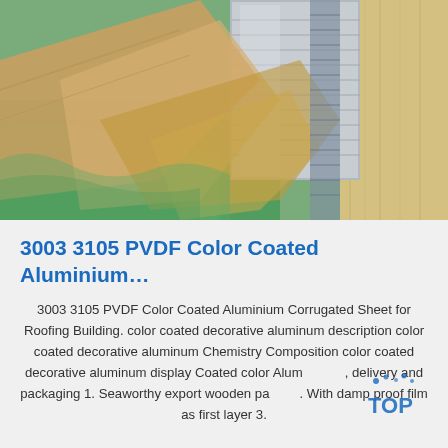[Figure (photo): Close-up photo of stacked aluminium sheets wrapped in brown kraft paper and green plastic film, with wooden framing visible, showing packaged aluminium corrugated sheet products.]
3003 3105 PVDF Color Coated Aluminium…
3003 3105 PVDF Color Coated Aluminium Corrugated Sheet for Roofing Building. color coated decorative aluminum description color coated decorative aluminum Chemistry Composition color coated decorative aluminum display Coated color Aluminum delivery and packaging 1. Seaworthy export wooden pallet. With damp proof film as first layer 3.